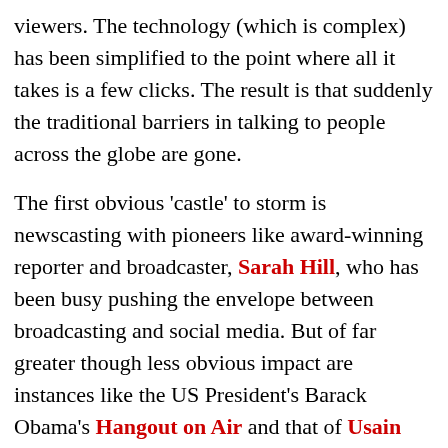viewers. The technology (which is complex) has been simplified to the point where all it takes is a few clicks. The result is that suddenly the traditional barriers in talking to people across the globe are gone.
The first obvious 'castle' to storm is newscasting with pioneers like award-winning reporter and broadcaster, Sarah Hill, who has been busy pushing the envelope between broadcasting and social media. But of far greater though less obvious impact are instances like the US President's Barack Obama's Hangout on Air and that of Usain Bolt, the fastest man in the world.
The fact that now politicians, athletes, scientists,